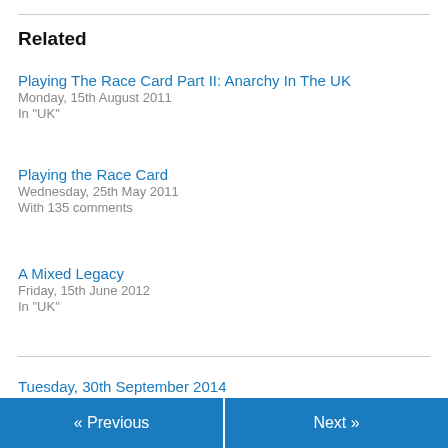Related
Playing The Race Card Part II: Anarchy In The UK
Monday, 15th August 2011
In "UK"
Playing the Race Card
Wednesday, 25th May 2011
With 135 comments
A Mixed Legacy
Friday, 15th June 2012
In "UK"
Tuesday, 30th September 2014
« Previous   Next »